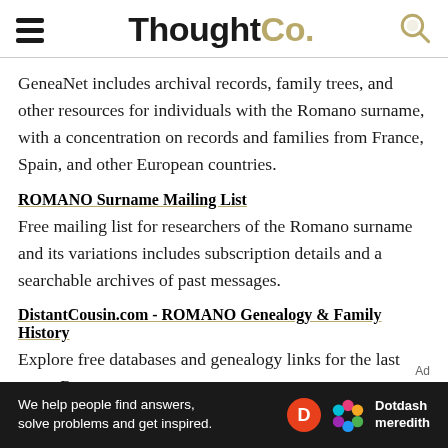ThoughtCo.
GeneaNet includes archival records, family trees, and other resources for individuals with the Romano surname, with a concentration on records and families from France, Spain, and other European countries.
ROMANO Surname Mailing List
Free mailing list for researchers of the Romano surname and its variations includes subscription details and a searchable archives of past messages.
DistantCousin.com - ROMANO Genealogy & Family History
Explore free databases and genealogy links for the last name Romano.
[Figure (infographic): Dark banner ad: 'We help people find answers, solve problems and get inspired.' with Dotdash Meredith logo]